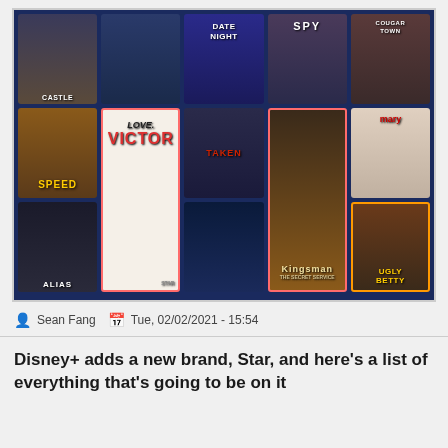[Figure (screenshot): Screenshot of a streaming service interface (likely Disney+) showing a grid of movie and TV show posters including Castle, Date Night, SPY, Cougar Town, Speed, Love Victor, Taken, Kingsman, Mary, Alias, The Shape of Water, Ugly Betty, a park/jungle show, and Alien]
Sean Fang  Tue, 02/02/2021 - 15:54
Disney+ adds a new brand, Star, and here's a list of everything that's going to be on it